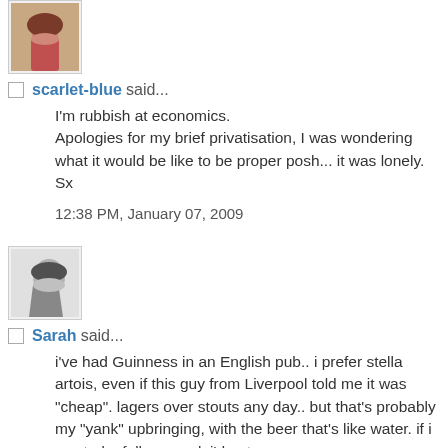[Figure (photo): Small avatar photo of a woman with reddish-brown hair, color photo, shown in a bordered box]
scarlet-blue said...
I'm rubbish at economics.
Apologies for my brief privatisation, I was wondering what it would be like to be proper posh... it was lonely.
Sx
12:38 PM, January 07, 2009
[Figure (photo): Small avatar photo of a person in black and white profile view, shown in a bordered box]
Sarah said...
i've had Guinness in an English pub.. i prefer stella artois, even if this guy from Liverpool told me it was "cheap". lagers over stouts any day.. but that's probably my "yank" upbringing, with the beer that's like water. if i wanted a full on meal, i'd eat one.
11:06 PM, January 07, 2009